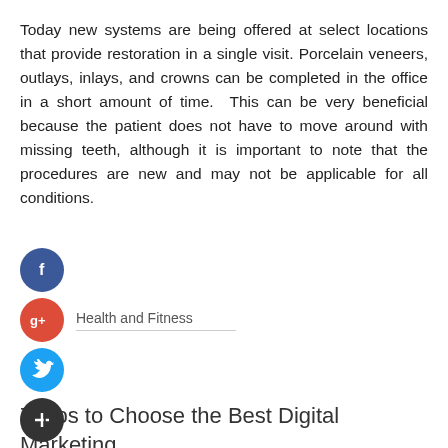Today new systems are being offered at select locations that provide restoration in a single visit. Porcelain veneers, outlays, inlays, and crowns can be completed in the office in a short amount of time.  This can be very beneficial because the patient does not have to move around with missing teeth, although it is important to note that the procedures are new and may not be applicable for all conditions.
[Figure (infographic): Social media share buttons: Facebook (blue circle with f), Google+ (red circle with g+), Twitter (blue circle with bird icon), Add/Plus (dark circle with + icon). Google+ button has label 'Health and Fitness' next to it with a horizontal rule.]
7 Tips to Choose the Best Digital Marketing